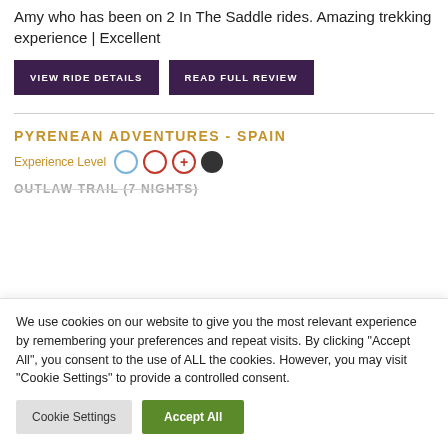Amy who has been on 2 In The Saddle rides. Amazing trekking experience | Excellent
VIEW RIDE DETAILS
READ FULL REVIEW
PYRENEAN ADVENTURES - SPAIN
Experience Level
OUTLAW TRAIL (7 NIGHTS)
We use cookies on our website to give you the most relevant experience by remembering your preferences and repeat visits. By clicking "Accept All", you consent to the use of ALL the cookies. However, you may visit "Cookie Settings" to provide a controlled consent.
Cookie Settings
Accept All